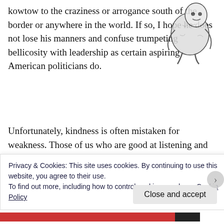kowtow to the craziness or arrogance south of the border or anywhere in the world. If so, I hope he does not lose his manners and confuse trumpeting bellicosity with leadership as certain aspiring American politicians do.
[Figure (illustration): Black and white sketch/illustration of a figure, appears to be a person or creature in a crouched or seated position]
Unfortunately, kindness is often mistaken for weakness. Those of us who are good at listening and who hesitate to interrupt or steamroll are not perceived as having strength or ideas of our own, if we are even seen or heard at all. Of course, it is our
Privacy & Cookies: This site uses cookies. By continuing to use this website, you agree to their use.
To find out more, including how to control cookies, see here: Cookie Policy